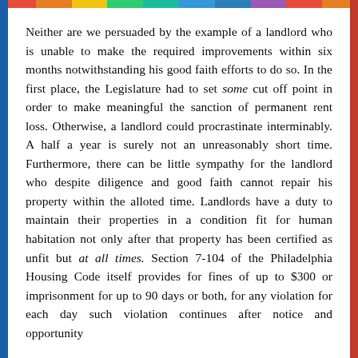Neither are we persuaded by the example of a landlord who is unable to make the required improvements within six months notwithstanding his good faith efforts to do so. In the first place, the Legislature had to set some cut off point in order to make meaningful the sanction of permanent rent loss. Otherwise, a landlord could procrastinate interminably. A half a year is surely not an unreasonably short time. Furthermore, there can be little sympathy for the landlord who despite diligence and good faith cannot repair his property within the alloted time. Landlords have a duty to maintain their properties in a condition fit for human habitation not only after that property has been certified as unfit but at all times. Section 7-104 of the Philadelphia Housing Code itself provides for fines of up to $300 or imprisonment for up to 90 days or both, for any violation for each day such violation continues after notice and opportunity